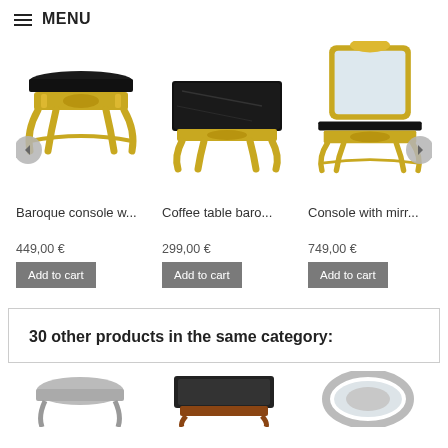≡ MENU
[Figure (photo): Baroque console table with gold ornate legs and black marble top]
[Figure (photo): Coffee table baroque style with gold ornate legs and black marble top]
[Figure (photo): Console with mirror, gold ornate frame and black marble top]
Baroque console w...
449,00 €
Add to cart
Coffee table baro...
299,00 €
Add to cart
Console with mirr...
749,00 €
Add to cart
30 other products in the same category:
[Figure (photo): Partial product image at bottom left]
[Figure (photo): Partial product image at bottom center]
[Figure (photo): Partial product image at bottom right]